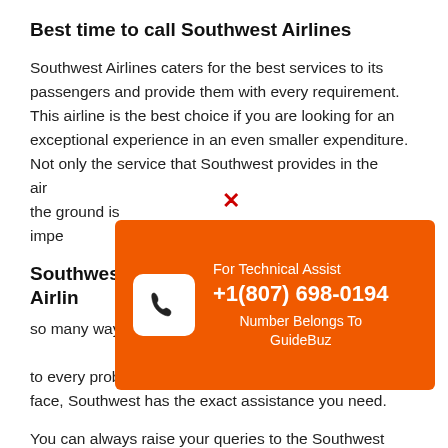Best time to call Southwest Airlines
Southwest Airlines caters for the best services to its passengers and provide them with every requirement. This airline is the best choice if you are looking for an exceptional experience in an even smaller expenditure. Not only the service that Southwest provides in the air, but also the service on the ground is impeccable.
Southwest Airlines Customer Service
so many ways as the customer service responds to every problem a passenger has. For any trouble you face, Southwest has the exact assistance you need.
[Figure (infographic): Orange popup banner with phone icon showing 'For Technical Assist +1(807) 698-0194 Number Belongs To GuideBuz']
You can always raise your queries to the Southwest customer support representative through different mediums: